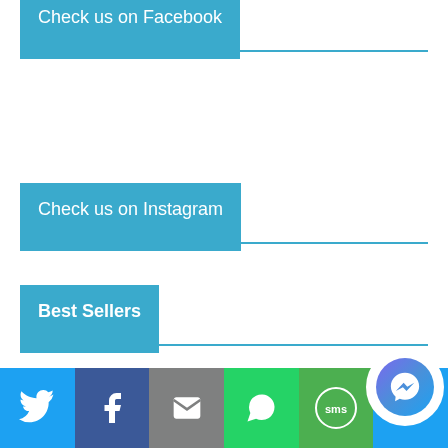Check us on Facebook
Check us on Instagram
Best Sellers
[Figure (infographic): Social media sharing bar with Twitter, Facebook, Email, WhatsApp, SMS, and Messenger buttons at the bottom of the page]